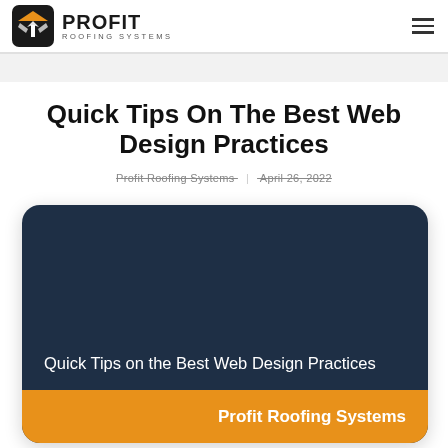PROFIT ROOFING SYSTEMS
Quick Tips On The Best Web Design Practices
Profit Roofing Systems | April 26, 2022
[Figure (illustration): Dark navy rounded card with text 'Quick Tips on the Best Web Design Practices' and an orange footer bar showing 'Profit Roofing Systems']